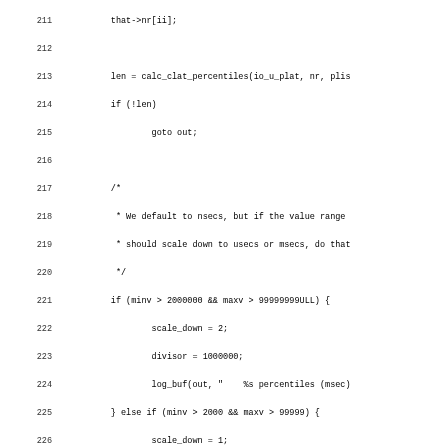[Figure (other): Source code listing in C, lines 211-243, showing function body with calc_clat_percentiles call, comments about nsecs/usecs/msecs scaling, conditional blocks for scale_down and divisor, log_buf calls, and formatting logic for time_width and per_line.]